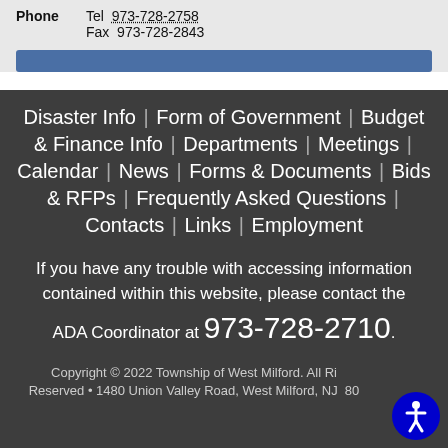Phone   Tel 973-728-2758   Fax 973-728-2843
Disaster Info | Form of Government | Budget & Finance Info | Departments | Meetings | Calendar | News | Forms & Documents | Bids & RFPs | Frequently Asked Questions | Contacts | Links | Employment
If you have any trouble with accessing information contained within this website, please contact the ADA Coordinator at 973-728-2710.
Copyright © 2022 Township of West Milford. All Rights Reserved • 1480 Union Valley Road, West Milford, NJ 07480